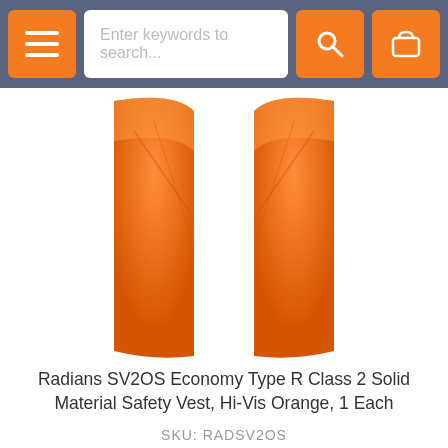Enter keywords to search...
[Figure (photo): Orange safety vest product photo showing front view of a hi-vis orange vest]
Radians SV2OS Economy Type R Class 2 Solid Material Safety Vest, Hi-Vis Orange, 1 Each
SKU: RADSV2OS
[Figure (logo): Accessibility icon (wheelchair symbol) in dark oval, and Enviro Safety – BE SAFE! rating badge with Y logo and 4 orange stars]
As low as $4.99
ADD TO CART